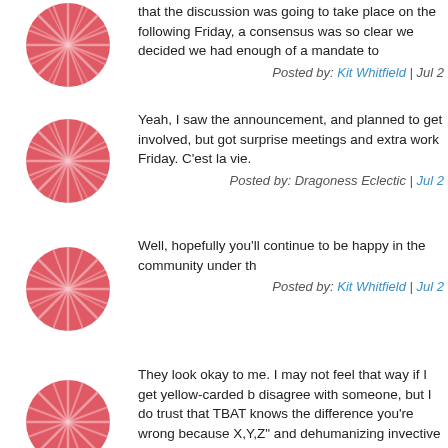that the discussion was going to take place on the following Friday, a consensus was so clear we decided we had enough of a mandate to
Posted by: Kit Whitfield | Jul 2
Yeah, I saw the announcement, and planned to get involved, but got surprise meetings and extra work Friday. C'est la vie.
Posted by: Dragoness Eclectic | Jul 2
Well, hopefully you'll continue to be happy in the community under th
Posted by: Kit Whitfield | Jul 2
They look okay to me. I may not feel that way if I get yellow-carded b disagree with someone, but I do trust that TBAT knows the difference you're wrong because X,Y,Z" and dehumanizing invective toward sor because they have a different opinion.
Bullying of any kind tends to set off my latent berserker rage, and tha dogpiles. Historically, that's when I've gotten intemperate and said tru things in defense of targets that later turned out not to be deserving o defense. Sadly, it's very hard for me to sit back and say nothing when appears to be bullying going on--it triggers me to violent rage. (I got b child, and it left some deep scars, resentment and anger in my psych being bullied, it's a bad scene all around. I stop caring about being n